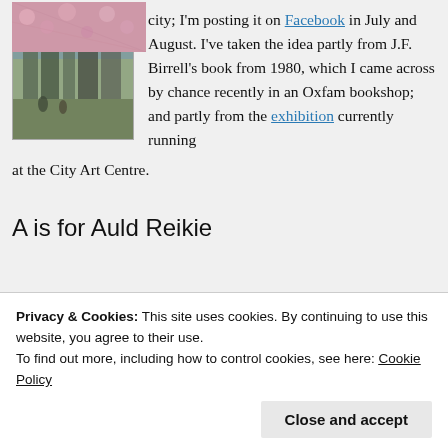[Figure (illustration): Book cover illustration showing a painted cityscape scene, likely Edinburgh, with buildings and figures in a muted green-blue palette]
city; I'm posting it on Facebook in July and August. I've taken the idea partly from J.F. Birrell's book from 1980, which I came across by chance recently in an Oxfam bookshop; and partly from the exhibition currently running at the City Art Centre.
A is for Auld Reikie
[Figure (photo): Partial view of a pink/floral patterned image, bottom of page, cropped]
Privacy & Cookies: This site uses cookies. By continuing to use this website, you agree to their use.
To find out more, including how to control cookies, see here: Cookie Policy
Close and accept